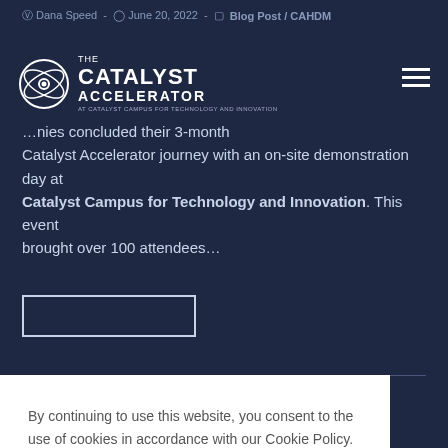Dana Speed - June 20, 2022 - Blog Post / CAHDM
[Figure (logo): The Catalyst Accelerator logo — atom icon with text THE CATALYST ACCELERATOR at Catalyst Campus for Technology and Innovation]
…nies concluded their 3-month Catalyst Accelerator journey with an on-site demonstration day at Catalyst Campus for Technology and Innovation. This event brought over 100 attendees…
By continuing to use this website, you consent to the use of cookies in accordance with our Cookie Policy.
ACCEPT